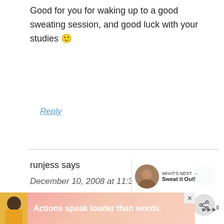Good for you for waking up to a good sweating session, and good luck with your studies 🙂
Reply
runjess says
December 10, 2008 at 11:38 am
My shoulders have been aching too. I blame the desk job.
[Figure (screenshot): Ad banner: Actions speak louder than words.]